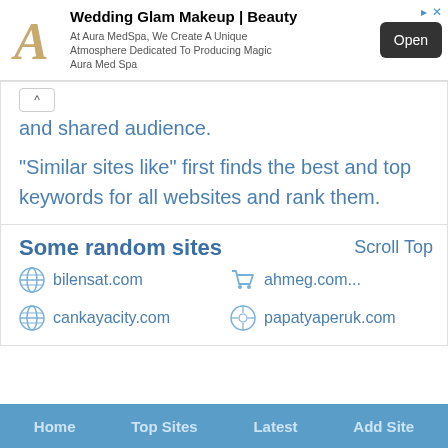[Figure (other): Advertisement banner: Wedding Glam Makeup | Beauty - At Aura MedSpa, We Create A Unique Atmosphere Dedicated To Producing Magic Aura Med Spa. Open button.]
and shared audience.
"Similar sites like" first finds the best and top keywords for all websites and rank them.
Some random sites
Scroll Top
bilensat.com
ahmeg.com...
cankayacity.com
papatyaperuk.com
Home   Top Sites   Latest   Add Site